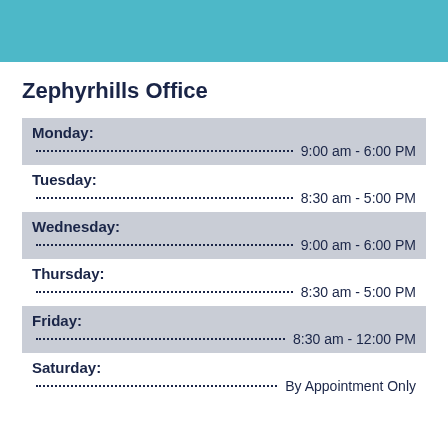Zephyrhills Office
| Day | Hours |
| --- | --- |
| Monday: | 9:00 am - 6:00 PM |
| Tuesday: | 8:30 am - 5:00 PM |
| Wednesday: | 9:00 am - 6:00 PM |
| Thursday: | 8:30 am - 5:00 PM |
| Friday: | 8:30 am - 12:00 PM |
| Saturday: | By Appointment Only |